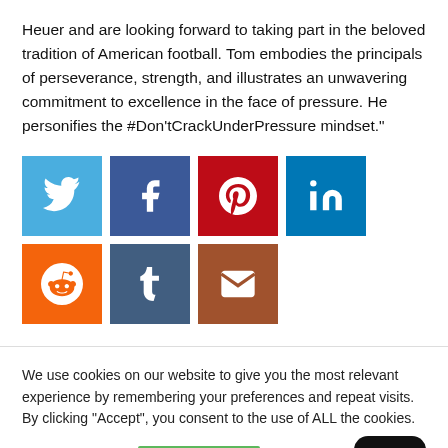Heuer and are looking forward to taking part in the beloved tradition of American football. Tom embodies the principals of perseverance, strength, and illustrates an unwavering commitment to excellence in the face of pressure. He personifies the #Don'tCrackUnderPressure mindset."
[Figure (infographic): Social media share buttons: Twitter (blue), Facebook (dark blue), Pinterest (red), LinkedIn (teal blue), Reddit (orange), Tumblr (steel blue), Email (brown)]
We use cookies on our website to give you the most relevant experience by remembering your preferences and repeat visits. By clicking “Accept”, you consent to the use of ALL the cookies.
Cookie settings | ACCEPT